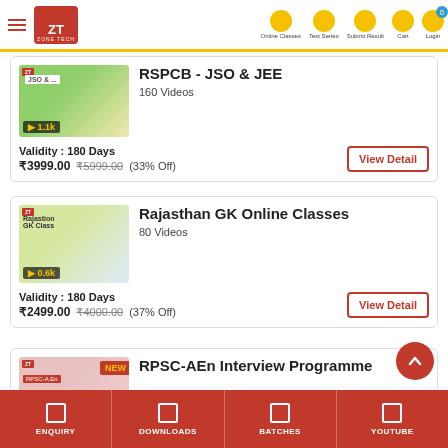Zone Tech — Online Classes | Test Series | Submit Result | Cart | Login
[Figure (screenshot): RSPCB JSO & JEE course thumbnail with 1.1k views badge]
RSPCB - JSO & JEE
160 Videos
Validity : 180 Days
₹3999.00   ₹5999.00 (33% Off)
View Detail
[Figure (screenshot): Rajasthan GK Online Classes course thumbnail with 0.6k views badge]
Rajasthan GK Online Classes
80 Videos
Validity : 180 Days
₹2499.00   ₹4000.00 (37% Off)
View Detail
[Figure (screenshot): RPSC-AEn Interview Programme course thumbnail with NEW badge and 3.0k views badge]
RPSC-AEn Interview Programme
ENQUIRY | DOWNLOADS | BATCHES | YOUTUBE